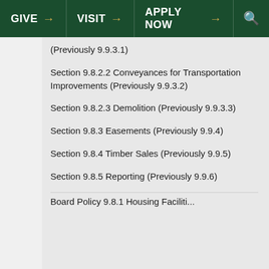GIVE → VISIT → APPLY NOW → 🔍
(Previously 9.9.3.1)
Section 9.8.2.2 Conveyances for Transportation Improvements (Previously 9.9.3.2)
Section 9.8.2.3 Demolition (Previously 9.9.3.3)
Section 9.8.3 Easements (Previously 9.9.4)
Section 9.8.4 Timber Sales (Previously 9.9.5)
Section 9.8.5 Reporting (Previously 9.9.6)
Board Policy 9.8.1 Housing Facilities...